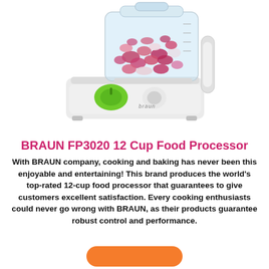[Figure (photo): Photo of a Braun FP3020 12-cup food processor in white with a green knob and a transparent bowl filled with chopped red onions.]
BRAUN FP3020 12 Cup Food Processor
With BRAUN company, cooking and baking has never been this enjoyable and entertaining! This brand produces the world's top-rated 12-cup food processor that guarantees to give customers excellent satisfaction. Every cooking enthusiasts could never go wrong with BRAUN, as their products guarantee robust control and performance.
[Figure (other): Orange rounded button (call-to-action button) at the bottom of the page.]